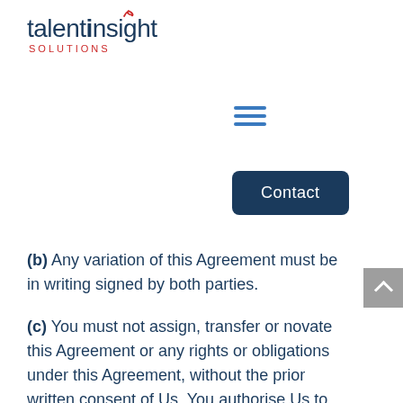[Figure (logo): Talent Insight Solutions logo with stylized swirl above the 'i' in 'insight', text in dark navy with red accent, SOLUTIONS in red spaced caps below]
[Figure (other): Three horizontal blue lines hamburger menu icon]
[Figure (other): Dark navy rounded rectangle Contact button]
(b) Any variation of this Agreement must be in writing signed by both parties.
(c) You must not assign, transfer or novate this Agreement or any rights or obligations under this Agreement, without the prior written consent of Us. You authorise Us to sub-contract the provision of any of the Services as We may require in Our absolute discretion from time to time and at any